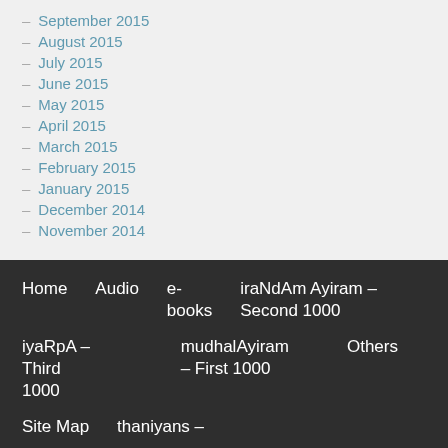– September 2015
– August 2015
– July 2015
– June 2015
– May 2015
– April 2015
– March 2015
– February 2015
– January 2015
– December 2014
– November 2014
Home   Audio   e-books   iraNdAm Ayiram – Second 1000   iyaRpA – Third 1000   mudhalAyiram – First 1000   Others   Site Map   thaniyans –